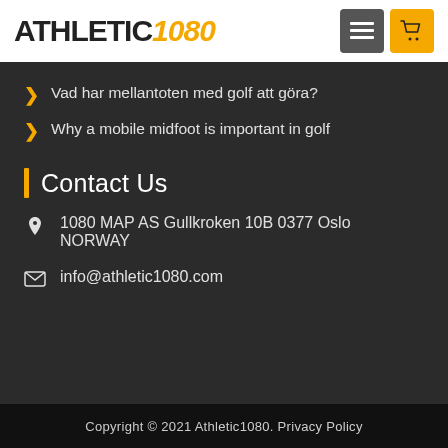ATHLETIC1080
Vad har mellantoten med golf att gora?
Why a mobile midfoot is important in golf
Contact Us
1080 MAP AS Gullkroken 10B 0377 Oslo NORWAY
info@athletic1080.com
Copyright © 2021 Athletic1080. Privacy Policy